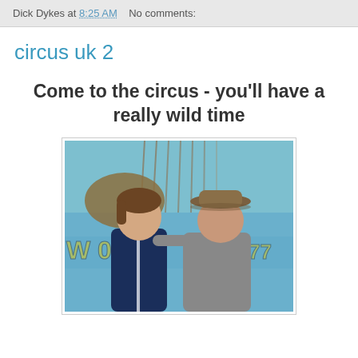Dick Dykes at 8:25 AM   No comments:
circus uk 2
Come to the circus - you’ll have a really wild time
[Figure (photo): Two people standing in front of a circus truck/vehicle with blue paint and yellow lettering showing a phone number (07...27...77). The person on the left is a young girl with brown hair wearing a navy blue jacket. The person on the right is a woman wearing a cowboy hat and grey sweatshirt with her arm around the girl. Ropes and circus imagery visible in the background.]